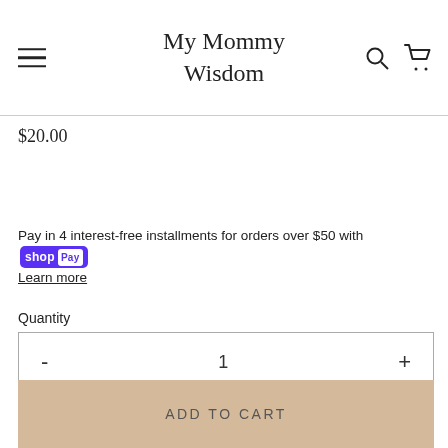My Mommy Wisdom
$20.00
Pay in 4 interest-free installments for orders over $50 with Shop Pay
Learn more
Quantity
- 1 +
ADD TO CART